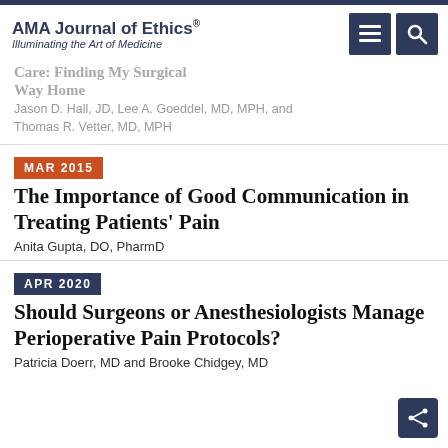AMA Journal of Ethics® | Illuminating the Art of Medicine
Care: Finding My Surgical Way Home
Jason D. Hall, JD, Lee A. Goeddel, MD, MPH, and Thomas R. Vetter, MD, MPH
MAR 2015
The Importance of Good Communication in Treating Patients' Pain
Anita Gupta, DO, PharmD
APR 2020
Should Surgeons or Anesthesiologists Manage Perioperative Pain Protocols?
Patricia Doerr, MD and Brooke Chidgey, MD